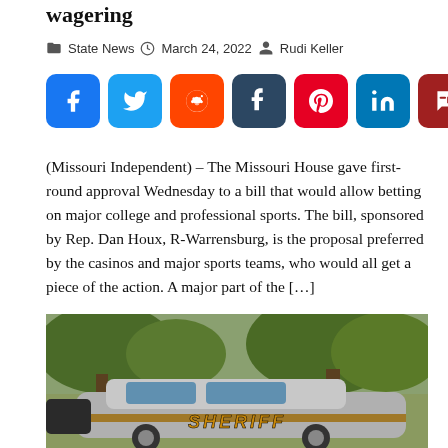wagering
State News   March 24, 2022   Rudi Keller
[Figure (other): Row of social media share buttons: Facebook (blue), Twitter (light blue), Reddit (orange), Tumblr (dark teal), Pinterest (red), LinkedIn (blue), Parler (dark red), WhatsApp (green)]
(Missouri Independent) – The Missouri House gave first-round approval Wednesday to a bill that would allow betting on major college and professional sports. The bill, sponsored by Rep. Dan Houx, R-Warrensburg, is the proposal preferred by the casinos and major sports teams, who would all get a piece of the action. A major part of the […]
[Figure (photo): Photo of a sheriff's police car parked outdoors with trees in the background. The word SHERIFF is visible on the side of the silver car in orange/gold lettering.]